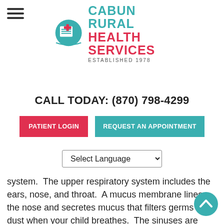[Figure (logo): Cabun Rural Health Services logo with teal circle containing a red cross and medical document icon, with teal and red text reading CABUN RURAL HEALTH SERVICES ESTABLISHED 1978]
CALL TODAY: (870) 798-4299
PATIENT LOGIN
REQUEST AN APPOINTMENT
Select Language
system.  The upper respiratory system includes the ears, nose, and throat.  A mucus membrane lines the nose and secretes mucus that filters germs and dust when your child breathes.  The sinuses are behind your child's nose and in the bones of your child's head and face.  Sinuses are filled with air and are also lined with a mucus membrane.